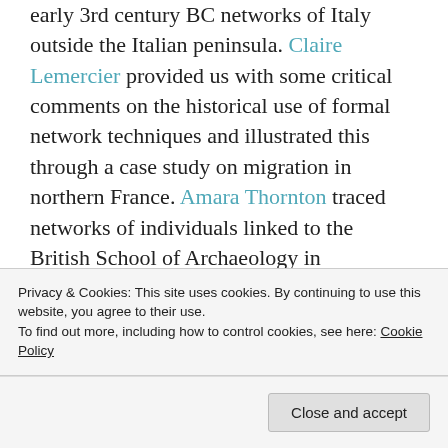early 3rd century BC networks of Italy outside the Italian peninsula. Claire Lemercier provided us with some critical comments on the historical use of formal network techniques and illustrated this through a case study on migration in northern France. Amara Thornton traced networks of individuals linked to the British School of Archaeology in Jerusalem. Finally, Katherine Larson showed us a particularly creative way of seeing networks in the archaeological record by linking sculptors' signatures on ancient statues.

In our eyes The Connected Past was a great success. We enjoyed the experience of organising...
Privacy & Cookies: This site uses cookies. By continuing to use this website, you agree to their use.
To find out more, including how to control cookies, see here: Cookie Policy
Close and accept